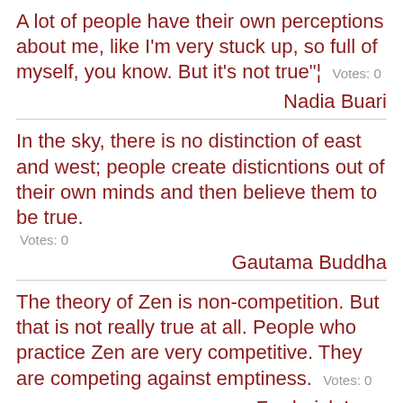A lot of people have their own perceptions about me, like I'm very stuck up, so full of myself, you know. But it's not true"¦  Votes: 0
Nadia Buari
In the sky, there is no distinction of east and west; people create disticntions out of their own minds and then believe them to be true.  Votes: 0
Gautama Buddha
The theory of Zen is non-competition. But that is not really true at all. People who practice Zen are very competitive. They are competing against emptiness.  Votes: 0
Frederick Lenz